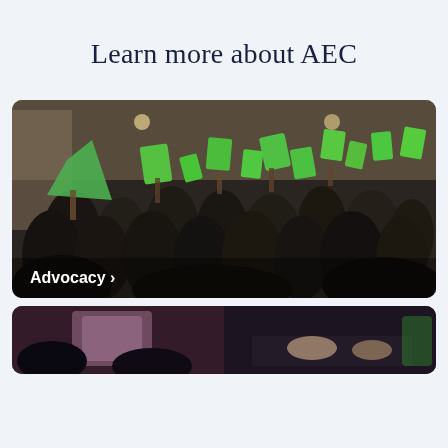Learn more about AEC
[Figure (photo): Crowd of people in a large hall holding up green cards/papers, with an 'Advocacy >' label overlay at the bottom left]
[Figure (photo): Partially visible photo at the bottom of the page showing people at what appears to be a presentation or event]